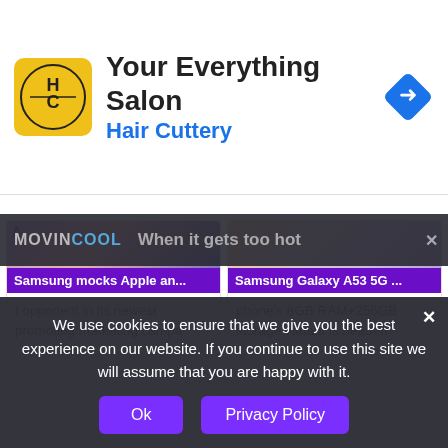[Figure (screenshot): Ad banner for Hair Cuttery salon with logo, title 'Your Everything Salon', subtitle 'Hair Cuttery', and navigation icon]
[Figure (screenshot): News card: Samsung mocks Apple an... - t opponent in its newest promoting marketing campa]
[Figure (screenshot): News card: Samsung Galaxy A53 5G ... - phone's 8GB RAM+256GB storage variant is headed]
[Figure (screenshot): Phone image card: Galaxy A04s Out With 90H...]
[Figure (screenshot): Phone image card: Samsung Galaxy S22 cam...]
We use cookies to ensure that we give you the best experience on our website. If you continue to use this site we will assume that you are happy with it.
Ok
Privacy Policy